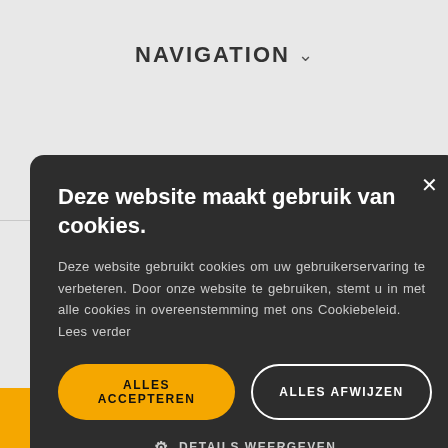NAVIGATION ˅
EXTRA ˅
[Figure (screenshot): Cookie consent modal overlay on a website with dark background, showing title, body text, two buttons (Alles Accepteren, Alles Afwijzen), and details link]
Deze website maakt gebruik van cookies.
Deze website gebruikt cookies om uw gebruikerservaring te verbeteren. Door onze website te gebruiken, stemt u in met alle cookies in overeenstemming met ons Cookiebeleid. Lees verder
ALLES ACCEPTEREN
ALLES AFWIJZEN
DETAILS WEERGEVEN
Menu